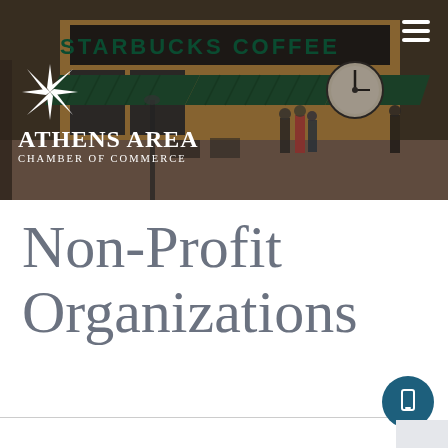[Figure (photo): Header photo of downtown Athens street scene with Starbucks Coffee storefront, green awnings, a street clock, and people walking on the sidewalk. Athens Area Chamber of Commerce logo overlaid on the left side with a white star/snowflake icon above the text 'Athens Area Chamber of Commerce'. Hamburger menu icon in top right.]
Non-Profit Organizations